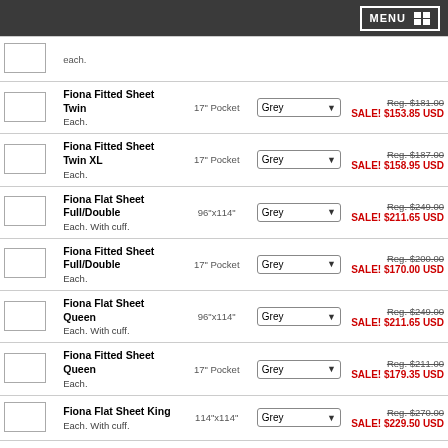MENU
| Image | Product | Spec | Color | Price |
| --- | --- | --- | --- | --- |
|  | Fiona Fitted Sheet Twin
Each. | 17" Pocket | Grey | Reg. $181.00
SALE! $153.85 USD |
|  | Fiona Fitted Sheet Twin XL
Each. | 17" Pocket | Grey | Reg. $187.00
SALE! $158.95 USD |
|  | Fiona Flat Sheet Full/Double
Each. With cuff. | 96"x114" | Grey | Reg. $249.00
SALE! $211.65 USD |
|  | Fiona Fitted Sheet Full/Double
Each. | 17" Pocket | Grey | Reg. $200.00
SALE! $170.00 USD |
|  | Fiona Flat Sheet Queen
Each. With cuff. | 96"x114" | Grey | Reg. $249.00
SALE! $211.65 USD |
|  | Fiona Fitted Sheet Queen
Each. | 17" Pocket | Grey | Reg. $211.00
SALE! $179.35 USD |
|  | Fiona Flat Sheet King
Each. With cuff. | 114"x114" | Grey | Reg. $270.00
SALE! $229.50 USD |